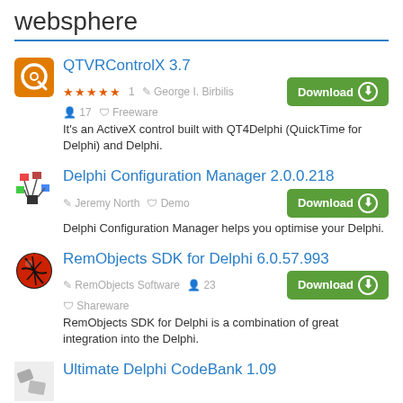websphere
QTVRControlX 3.7 — 5 stars, 1 rating, George I. Birbilis, 17 downloads, Freeware. It's an ActiveX control built with QT4Delphi (QuickTime for Delphi) and Delphi.
Delphi Configuration Manager 2.0.0.218 — Jeremy North, Demo. Delphi Configuration Manager helps you optimise your Delphi.
RemObjects SDK for Delphi 6.0.57.993 — RemObjects Software, 23 downloads, Shareware. RemObjects SDK for Delphi is a combination of great integration into the Delphi.
Ultimate Delphi CodeBank 1.09 (partially visible)